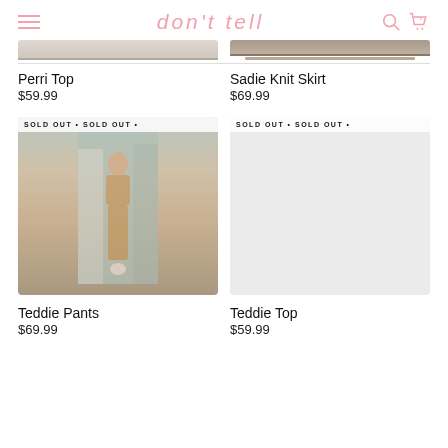don't tell
[Figure (photo): Product photo (cropped top) for Perri Top]
[Figure (photo): Product photo (cropped top) for Sadie Knit Skirt]
Perri Top
$59.99
Sadie Knit Skirt
$69.99
[Figure (photo): Sold out product photo of Teddie Pants — woman wearing tan cropped top and wide-leg tan pants, standing in a clothing store. Sold Out banner visible.]
[Figure (photo): Sold out product placeholder for Teddie Top — light gray rectangle with Sold Out banner.]
Teddie Pants
$69.99
Teddie Top
$59.99